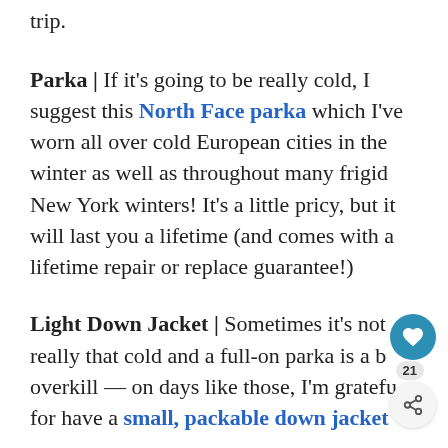trip.
Parka | If it's going to be really cold, I suggest this North Face parka which I've worn all over cold European cities in the winter as well as throughout many frigid New York winters! It's a little pricy, but it will last you a lifetime (and comes with a lifetime repair or replace guarantee!)
Light Down Jacket | Sometimes it's not really that cold and a full-on parka is a bit overkill — on days like those, I'm grateful for have a small, packable down jacket